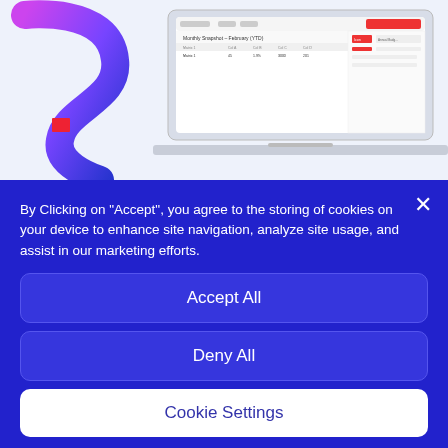[Figure (screenshot): Laptop/dashboard screenshot showing Equiem property management UI with a purple-pink S-curve logo on the left]
Equiem One: The next great leap in
By Clicking on "Accept", you agree to the storing of cookies on your device to enhance site navigation, analyze site usage, and assist in our marketing efforts.
Accept All
Deny All
Cookie Settings